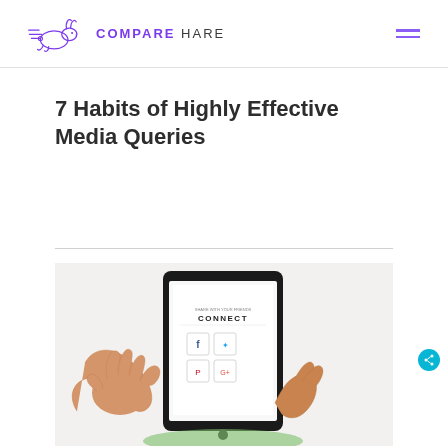COMPARE HARE
7 Habits of Highly Effective Media Queries
[Figure (photo): Hands holding a tablet displaying a social media connect screen with icons for Facebook, Twitter, Pinterest, Google+, and other social platforms]